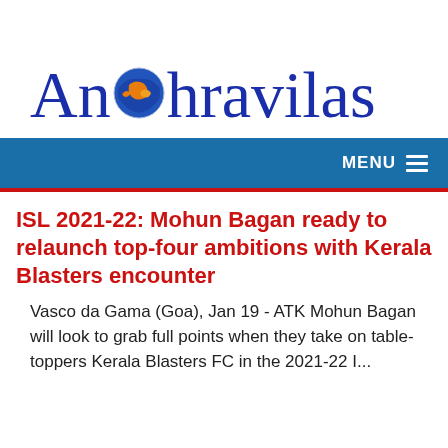[Figure (logo): Andhravilas logo with globe icon replacing the letter 'o' in 'Andhra', text in dark blue serif font]
MENU
ISL 2021-22: Mohun Bagan ready to relaunch top-four ambitions with Kerala Blasters encounter
Vasco da Gama (Goa), Jan 19 - ATK Mohun Bagan will look to grab full points when they take on table-toppers Kerala Blasters FC in the 2021-22 I...